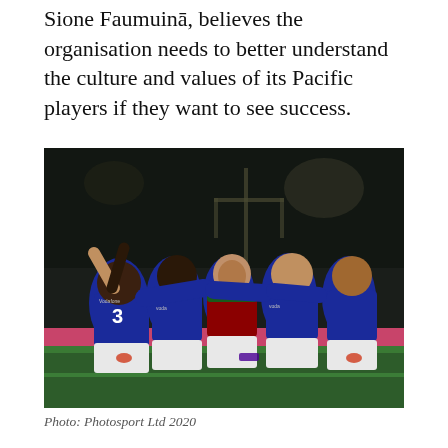Sione Faumuinā, believes the organisation needs to better understand the culture and values of its Pacific players if they want to see success.
[Figure (photo): Rugby league players in blue Warriors jerseys and one player in a red/green South Sydney Rabbitohs jersey celebrating together on a football field at night. Players wearing Vodafone-sponsored jerseys, numbers visible including #3. Stadium lights and goal posts in background.]
Photo: Photosport Ltd 2020
The Warriors have had mixed results this NRL season with the team burdened by the huge